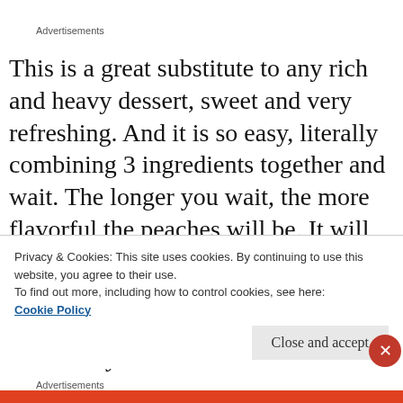Advertisements
This is a great substitute to any rich and heavy dessert, sweet and very refreshing. And it is so easy, literally combining 3 ingredients together and wait. The longer you wait, the more flavorful the peaches will be. It will be the perfect finish for your labor day weekend bbq (adults only, of course! *wink. ) And I’d like to think it’s healthy
Privacy & Cookies: This site uses cookies. By continuing to use this website, you agree to their use.
To find out more, including how to control cookies, see here: Cookie Policy
Advertisements